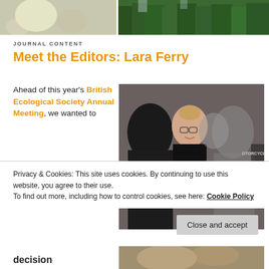[Figure (photo): Top banner photo showing blurred natural scenes — light-colored bokeh on left, forest/trees on right]
JOURNAL CONTENT
Meet the Editors: Lara Ferry
Ahead of this year's British Ecological Society Annual Meeting, we wanted to
[Figure (photo): Photo of a group of people outdoors, with a woman in a black tank top smiling in the foreground, others behind her, sign reading MOTORCYCLE visible in background]
Privacy & Cookies: This site uses cookies. By continuing to use this website, you agree to their use.
To find out more, including how to control cookies, see here: Cookie Policy
Close and accept
decision